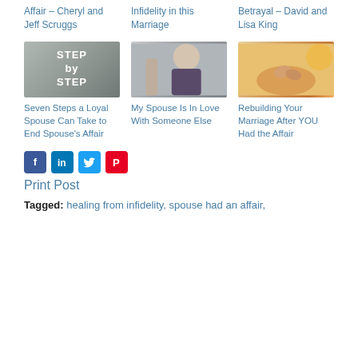Affair – Cheryl and Jeff Scruggs
Infidelity in this Marriage
Betrayal – David and Lisa King
[Figure (photo): Stone wall with text 'STEP by STEP' overlaid in white bold letters]
[Figure (photo): Smiling woman with someone's hand near her waist, casual clothing]
[Figure (photo): Two people holding hands in warm golden sunlight]
Seven Steps a Loyal Spouse Can Take to End Spouse's Affair
My Spouse Is In Love With Someone Else
Rebuilding Your Marriage After YOU Had the Affair
[Figure (infographic): Social sharing icons: Facebook (blue), LinkedIn (blue), Twitter (light blue), Pinterest (red)]
Print Post
Tagged: healing from infidelity, spouse had an affair,